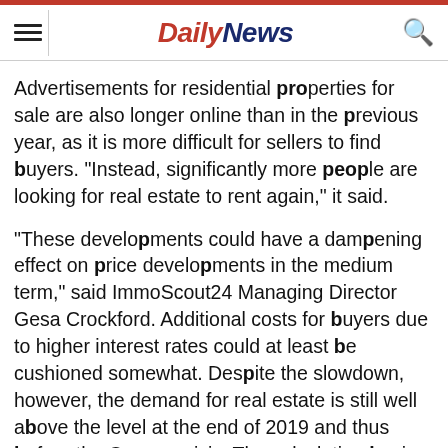Daily News
Advertisements for residential properties for sale are also longer online than in the previous year, as it is more difficult for sellers to find buyers. "Instead, significantly more people are looking for real estate to rent again," it said.
"These developments could have a dampening effect on price developments in the medium term," said ImmoScout24 Managing Director Gesa Crockford. Additional costs for buyers due to higher interest rates could at least be cushioned somewhat. Despite the slowdown, however, the demand for real estate is still well above the level at the end of 2019 and thus before the Corona crisis. The calculation basis for this is the average number of contact requests that providers receive for their